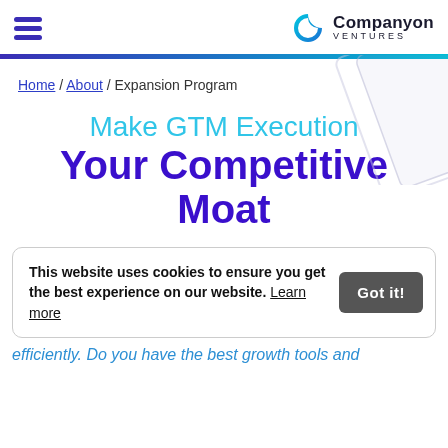Companyon Ventures
Home / About / Expansion Program
Make GTM Execution Your Competitive Moat
This website uses cookies to ensure you get the best experience on our website. Learn more
efficiently. Do you have the best growth tools and